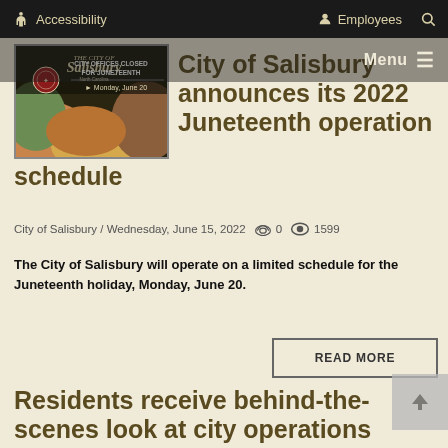Accessibility  Employees  [search]  Menu
[Figure (illustration): City of Salisbury logo with text 'CITY OFFICES CLOSED FOR JUNETEENTH' and 'Monday, June 20' on a colorful background]
City of Salisbury announces its 2022 Juneteenth operation schedule
City of Salisbury / Wednesday, June 15, 2022   [comment icon] 0   [eye icon] 1599
The City of Salisbury will operate on a limited schedule for the Juneteenth holiday, Monday, June 20.
READ MORE
Residents receive behind-the-scenes look at city operations during annual Citizen's